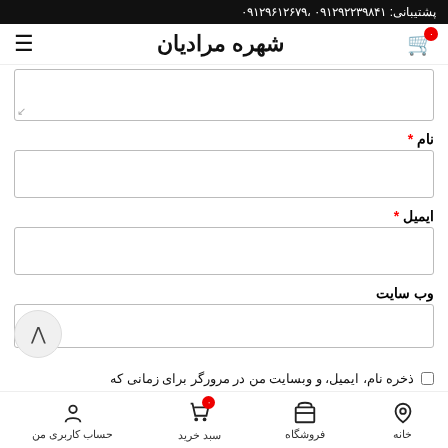پشتیبانی: ۰۹۱۲۹۲۲۳۹۸۴۱ ،۰۹۱۲۹۶۱۲۶۷۹
شهره مرادیان
نام *
ایمیل *
وب سایت
ذخره نام، ایمیل، و وبسایت من در مرورگر برای زمانی که
خانه | فروشگاه | سبد خرید | حساب کاربری من